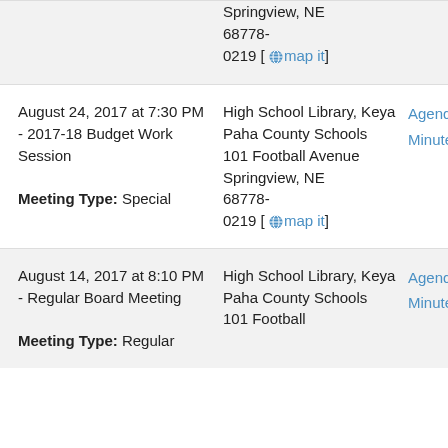| Date/Meeting | Location | Links |
| --- | --- | --- |
| [partial row — top clipped] Springview, NE 68778-0219 [map it] |  |  |
| August 24, 2017 at 7:30 PM - 2017-18 Budget Work Session
Meeting Type: Special | High School Library, Keya Paha County Schools
101 Football Avenue
Springview, NE 68778-0219 [map it] | Agenda
Minutes |
| August 14, 2017 at 8:10 PM - Regular Board Meeting
Meeting Type: Regular | High School Library, Keya Paha County Schools
101 Football | Agenda
Minutes |